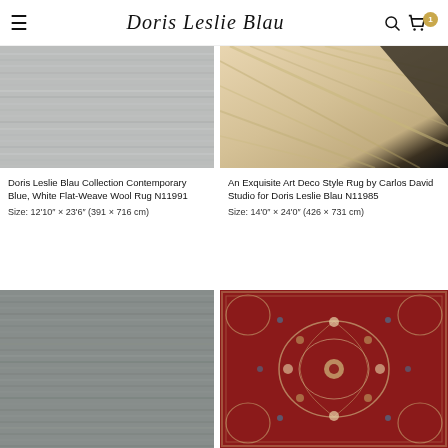Doris Leslie Blau
[Figure (photo): Close-up photo of a contemporary blue/grey flat-weave wool rug with horizontal texture lines]
Doris Leslie Blau Collection Contemporary Blue, White Flat-Weave Wool Rug N11991
Size: 12'10" × 23'6" (391 × 716 cm)
[Figure (photo): Close-up photo of an Art Deco style rug with diagonal stripe pattern in beige/tan with dark border]
An Exquisite Art Deco Style Rug by Carlos David Studio for Doris Leslie Blau N11985
Size: 14'0" × 24'0" (426 × 731 cm)
[Figure (photo): Close-up photo of a grey/charcoal contemporary flat-weave rug with horizontal texture]
[Figure (photo): Close-up photo of a Persian/traditional red rug with intricate floral medallion pattern in cream and blue]